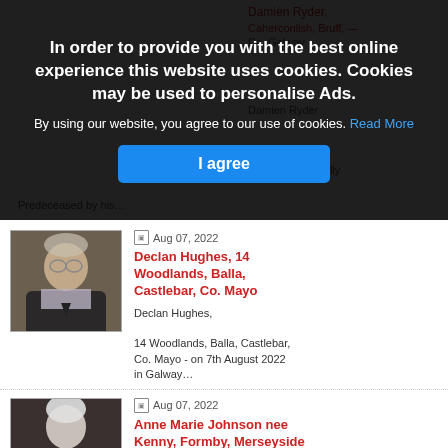In order to provide you with the best online experience this website uses cookies. Cookies may be used to personalise Ads.
By using our website, you agree to our use of cookies. Read More
I agree
Aug 07, 2022
Declan Hughes, 14 Woodlands, Balla, Castlebar, Co. Mayo
Declan Hughes,

14 Woodlands, Balla, Castlebar, Co. Mayo - on 7th August 2022 in Galway…
Aug 07, 2022
Anne Marie Johnson nee Kenny, Formby, Merseyside and formerly of Gill Aodain